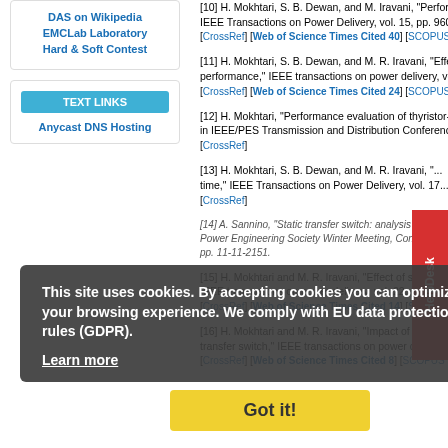DAS on Wikipedia
EMCLab Laboratory
Hard & Soft Contest
TEXT LINKS
Anycast DNS Hosting
[10] H. Mokhtari, S. B. Dewan, and M. Iravani, "Performance... IEEE Transactions on Power Delivery, vol. 15, pp. 960-966, [CrossRef] [Web of Science Times Cited 40] [SCOPUS Ti...
[11] H. Mokhtari, S. B. Dewan, and M. R. Iravani, "Effect of... performance," IEEE transactions on power delivery, vol. 16, p... [CrossRef] [Web of Science Times Cited 24] [SCOPUS Ti...
[12] H. Mokhtari, "Performance evaluation of thyristor-based... in IEEE/PES Transmission and Distribution Conference and P... [CrossRef]
[13] H. Mokhtari, S. B. Dewan, and M. R. Iravani, "... time," IEEE Transactions on Power Delivery, vol. 17... [CrossRef]
[14] A. Sannino, "Static transfer switch: analysis of switching... Power Engineering Society Winter Meeting, Conference Proc... pp. 1-11-2151.
[15] H. Mokhtari and M. R. Iravani, "Effect of source phase d... IEEE transactions on power delivery, vol. 22, pp. 1125-1131, [CrossRef] [Web of Science Times Cited 14] [SCOPUS Ti...
[16] H. Mokhtari and M. R. Iravani, "Impact of difference of... transfer switch," IEEE transactions on power delivery, vol. 19... [CrossRef] [Web of Science Times Cited 8] [SCOPUS Ti...
This site uses cookies. By accepting cookies you can optimize your browsing experience. We comply with EU data protection rules (GDPR).
Learn more
Got it!